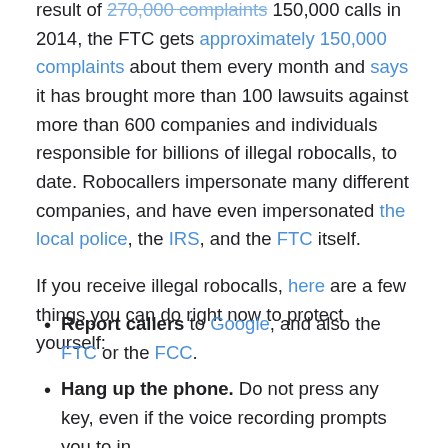FTC gets approximately 150,000 complaints about them every month and says it has brought more than 100 lawsuits against more than 600 companies and individuals responsible for billions of illegal robocalls, to date. Robocallers impersonate many different companies, and have even impersonated the local police, the IRS, and the FTC itself.
If you receive illegal robocalls, here are a few things you can do right now to protect yourself:
Report callers to Google, and also the FTC or the FCC.
Hang up the phone. Do not press any key, even if the voice recording prompts you to in